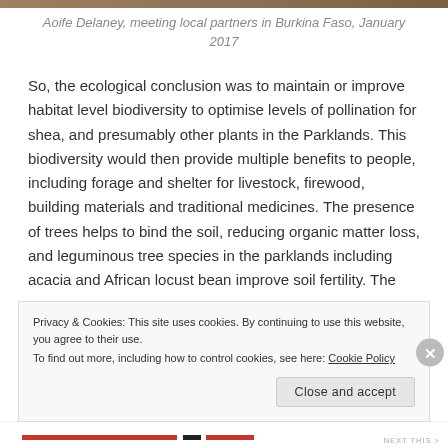[Figure (photo): Photo strip at the top of the page showing a partial outdoor scene in Burkina Faso]
Aoife Delaney, meeting local partners in Burkina Faso, January 2017
So, the ecological conclusion was to maintain or improve habitat level biodiversity to optimise levels of pollination for shea, and presumably other plants in the Parklands. This biodiversity would then provide multiple benefits to people, including forage and shelter for livestock, firewood, building materials and traditional medicines. The presence of trees helps to bind the soil, reducing organic matter loss, and leguminous tree species in the parklands including acacia and African locust bean improve soil fertility. The
Privacy & Cookies: This site uses cookies. By continuing to use this website, you agree to their use.
To find out more, including how to control cookies, see here: Cookie Policy
Close and accept